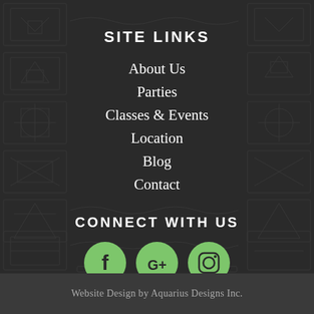SITE LINKS
About Us
Parties
Classes & Events
Location
Blog
Contact
CONNECT WITH US
[Figure (infographic): Three green circular social media icons: Facebook (f), Google+ (G+), and Instagram (camera icon)]
Website Design by Aquarius Designs Inc.